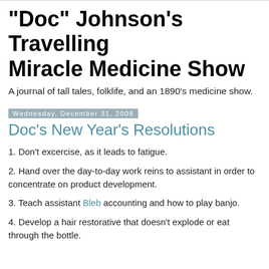"Doc" Johnson's Travelling Miracle Medicine Show
A journal of tall tales, folklife, and an 1890's medicine show.
Wednesday, December 31, 2008
Doc's New Year's Resolutions
1. Don't excercise, as it leads to fatigue.
2. Hand over the day-to-day work reins to assistant in order to concentrate on product development.
3. Teach assistant Bleb accounting and how to play banjo.
4. Develop a hair restorative that doesn't explode or eat through the bottle.